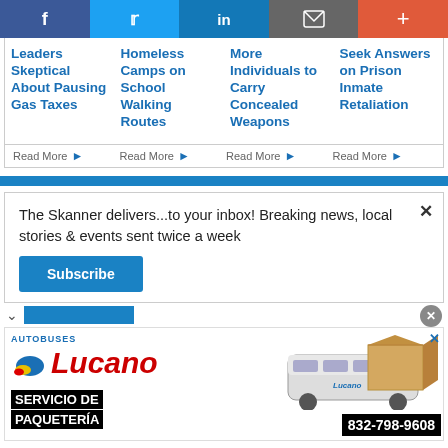[Figure (screenshot): Social media sharing bar with Facebook, Twitter, LinkedIn, email, and plus icons]
Leaders Skeptical About Pausing Gas Taxes
Homeless Camps on School Walking Routes
More Individuals to Carry Concealed Weapons
Seek Answers on Prison Inmate Retaliation
Read More ▶ Read More ▶ Read More ▶ Read More ▶
The Skanner delivers...to your inbox! Breaking news, local stories & events sent twice a week
Subscribe
[Figure (photo): Autobuses Lucano advertisement with bus image, boxes, and text SERVICIO DE PAQUETERÍA 832-798-9608]